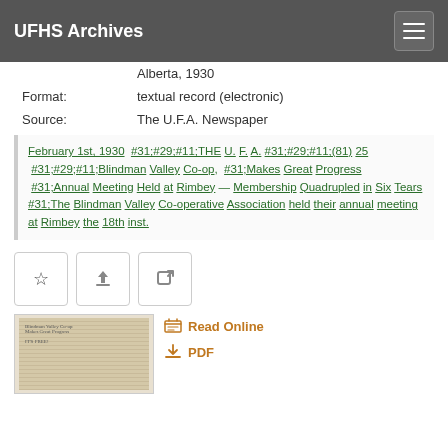UFHS Archives
Alberta, 1930
Format: textual record (electronic)
Source: The U.F.A. Newspaper
February 1st, 1930 #31;#29;#11;THE U. F. A. #31;#29;#11;(81) 25 #31;#29;#11;Blindman Valley Co-op, #31;Makes Great Progress #31;Annual Meeting Held at Rimbey — Membership Quadrupled in Six Tears #31;The Blindman Valley Co-operative Association held their annual meeting at Rimbey the 18th inst.
[Figure (photo): Thumbnail image of a newspaper page]
Read Online
PDF